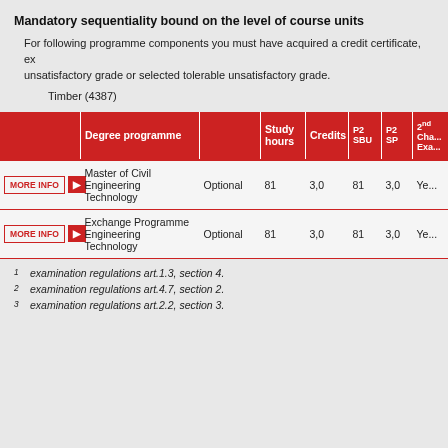Mandatory sequentiality bound on the level of course units
For following programme components you must have acquired a credit certificate, ex... unsatisfactory grade or selected tolerable unsatisfactory grade.
Timber (4387)
|  | Degree programme |  | Study hours | Credits | P2 SBU | P2 SP | 2nd Cha... Exa... |
| --- | --- | --- | --- | --- | --- | --- | --- |
| MORE INFO ▶ | Master of Civil Engineering Technology | Optional | 81 | 3,0 | 81 | 3,0 | Ye... |
| MORE INFO ▶ | Exchange Programme Engineering Technology | Optional | 81 | 3,0 | 81 | 3,0 | Ye... |
1  examination regulations art.1.3, section 4.
2  examination regulations art.4.7, section 2.
3  examination regulations art.2.2, section 3.